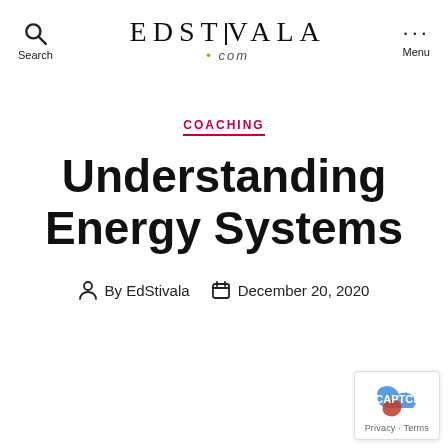Search | EDSTIVALA .com | Menu
COACHING
Understanding Energy Systems
By EdStivala   December 20, 2020